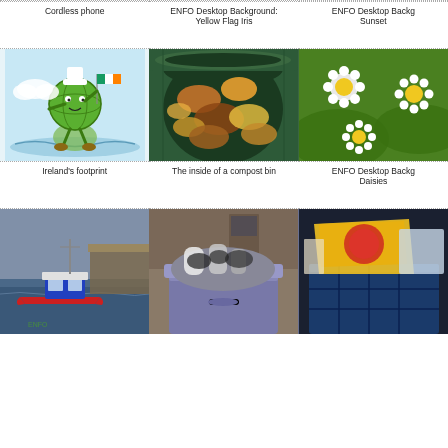Cordless phone
ENFO Desktop Background: Yellow Flag Iris
ENFO Desktop Background: Sunset
[Figure (illustration): Cartoon illustration of a green earth character holding an Irish flag, standing on water near a map of Ireland]
Ireland's footprint
[Figure (photo): Photo of the inside of a compost bin filled with organic food waste]
The inside of a compost bin
[Figure (photo): Photo of white daisy flowers with yellow centers against green foliage]
ENFO Desktop Background: Daisies
[Figure (photo): Photo of a red and blue fishing boat moored at a harbour with grey cloudy sky]
[Figure (photo): Photo of an overflowing large purple rubbish bin filled with household waste]
[Figure (photo): Photo of cardboard and packaging materials in a blue plastic crate recycling container]